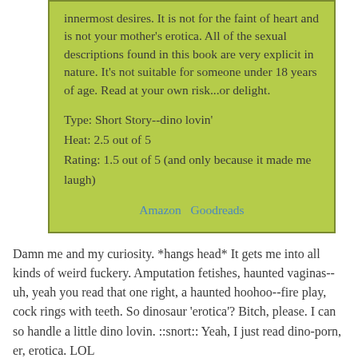innermost desires. It is not for the faint of heart and is not your mother's erotica. All of the sexual descriptions found in this book are very explicit in nature. It's not suitable for someone under 18 years of age. Read at your own risk...or delight.
Type: Short Story--dino lovin'
Heat: 2.5 out of 5
Rating: 1.5 out of 5 (and only because it made me laugh)
Amazon   Goodreads
Damn me and my curiosity. *hangs head* It gets me into all kinds of weird fuckery. Amputation fetishes, haunted vaginas--uh, yeah you read that one right, a haunted hoohoo--fire play, cock rings with teeth. So dinosaur 'erotica'? Bitch, please. I can so handle a little dino lovin. ::snort:: Yeah, I just read dino-porn, er, erotica. LOL